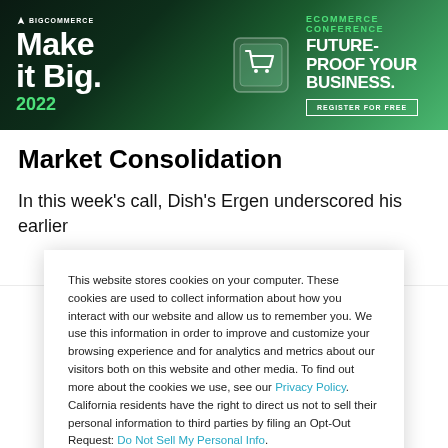[Figure (screenshot): BigCommerce 'Make it Big 2022' ecommerce conference banner ad with dark green gradient background, shopping cart icon, headline 'FUTURE-PROOF YOUR BUSINESS.' and 'REGISTER FOR FREE' button]
Market Consolidation
In this week's call, Dish's Ergen underscored his earlier
This website stores cookies on your computer. These cookies are used to collect information about how you interact with our website and allow us to remember you. We use this information in order to improve and customize your browsing experience and for analytics and metrics about our visitors both on this website and other media. To find out more about the cookies we use, see our Privacy Policy. California residents have the right to direct us not to sell their personal information to third parties by filing an Opt-Out Request: Do Not Sell My Personal Info.
Accept